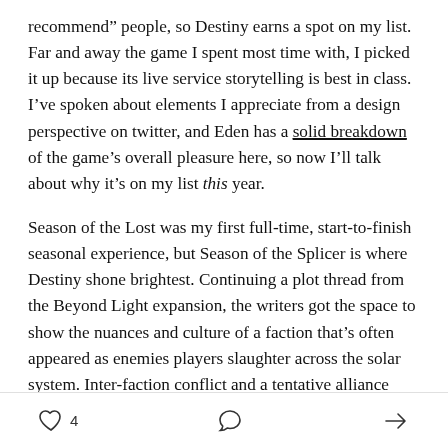recommend” people, so Destiny earns a spot on my list. Far and away the game I spent most time with, I picked it up because its live service storytelling is best in class. I’ve spoken about elements I appreciate from a design perspective on twitter, and Eden has a solid breakdown of the game’s overall pleasure here, so now I’ll talk about why it’s on my list this year.
Season of the Lost was my first full-time, start-to-finish seasonal experience, but Season of the Splicer is where Destiny shone brightest. Continuing a plot thread from the Beyond Light expansion, the writers got the space to show the nuances and culture of a faction that’s often appeared as enemies players slaughter across the solar system. Inter-faction conflict and a tentative alliance
♡ 4   ☐   ➤